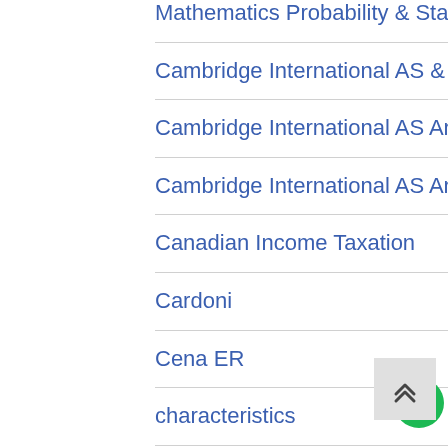Mathematics Probability & Statistics
Cambridge International AS & A Level Physics Coursebook
Cambridge International AS And A Level Chemistry
Cambridge International AS And A Level Economics
Canadian Income Taxation
Cardoni
Cena ER
characteristics
Chemistry The Central Science
College Accounting
College Algebra